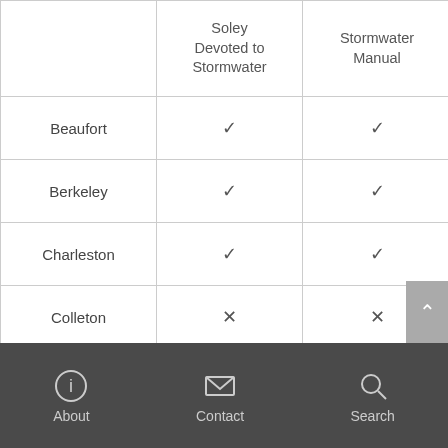|  | Soley Devoted to Stormwater | Stormwater Manual |
| --- | --- | --- |
| Beaufort | ✓ | ✓ |
| Berkeley | ✓ | ✓ |
| Charleston | ✓ | ✓ |
| Colleton | ✗ | ✗ |
| Dorchester | ✓ | ✓ |
| Georgetown | ✓ | ✓ |
| Horry | ✓ | ✓ |
About  Contact  Search